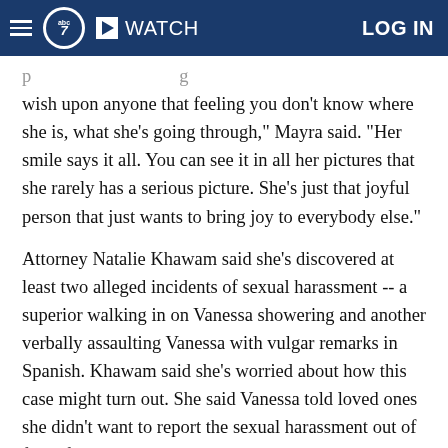WATCH  LOG IN
wish upon anyone that feeling you don't know where she is, what she's going through," Mayra said. "Her smile says it all. You can see it in all her pictures that she rarely has a serious picture. She's just that joyful person that just wants to bring joy to everybody else."
Attorney Natalie Khawam said she's discovered at least two alleged incidents of sexual harassment -- a superior walking in on Vanessa showering and another verbally assaulting Vanessa with vulgar remarks in Spanish. Khawam said she's worried about how this case might turn out. She said Vanessa told loved ones she didn't want to report the sexual harassment out of fear of retaliation.